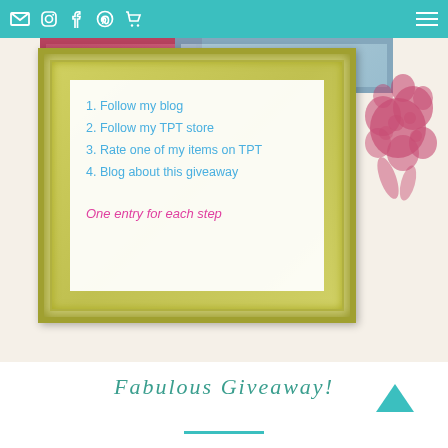Navigation bar with email, instagram, facebook, pinterest, cart icons and menu icon
[Figure (illustration): Decorative vintage frame with ornamental gold border containing a list of giveaway steps in blue text. Red floral decoration at top right. Vintage postage stamps visible at the top. List reads: 1. Follow my blog 2. Follow my TPT store 3. Rate one of my items on TPT 4. Blog about this giveaway. Pink italic text below: One entry for each step]
1. Follow my blog
2. Follow my TPT store
3. Rate one of my items on TPT
4. Blog about this giveaway
One entry for each step
Fabulous Giveaway!